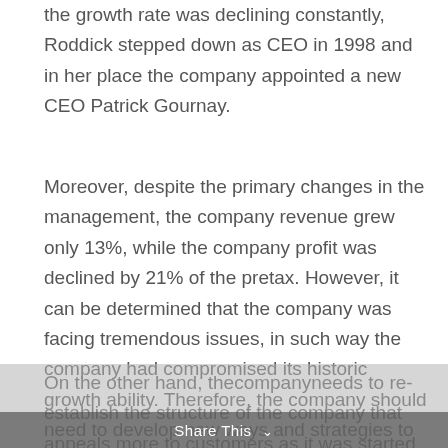the growth rate was declining constantly, Roddick stepped down as CEO in 1998 and in her place the company appointed a new CEO Patrick Gournay.
Moreover, despite the primary changes in the management, the company revenue grew only 13%, while the company profit was declined by 21% of the pretax. However, it can be determined that the company was facing tremendous issues, in such way the company had compromised its historic growth ability. Therefore, the company should need to develop new ways and strategies to make the organization profitable again.
On the other hand, thecompanyneeds to re-establish the structure of the company that appeals more to customers as it was started. These proposed changes affect the major changes in the company profitability